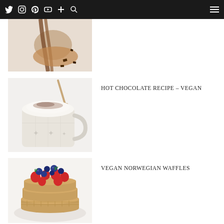Twitter Instagram Pinterest YouTube + Search [menu]
[Figure (photo): Partial view of chocolate being poured, with chocolate pieces scattered on a white surface]
[Figure (photo): A mug of hot chocolate topped with whipped cream and cocoa powder, with a spoon, on a white background]
HOT CHOCOLATE RECIPE – VEGAN
[Figure (photo): Stack of vegan Norwegian waffles topped with fresh strawberries and blueberries on a white plate]
VEGAN NORWEGIAN WAFFLES